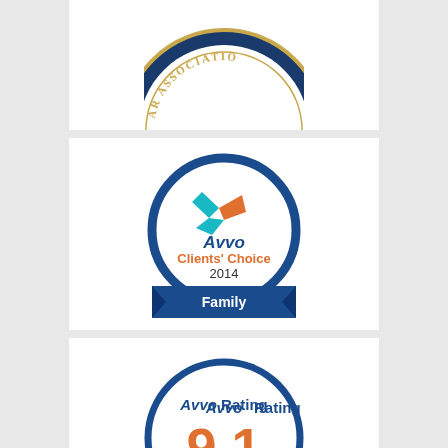[Figure (logo): Partial view of a circular bar association badge/seal (top portion cut off), dark navy blue with gold text reading 'AR ASSOCIATIO']
[Figure (logo): Avvo Clients' Choice 2014 badge for Family law. Circular navy blue bordered badge with Avvo star logo, text 'Avvo Clients' Choice 2014' and a navy blue ribbon banner at bottom reading 'Family']
[Figure (logo): Avvo Rating 9.1 Excellent badge. Circular navy blue bordered badge with text 'Avvo Rating', large orange '9.1', and orange 'Excellent' text below]